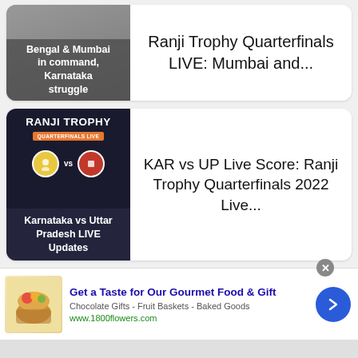[Figure (screenshot): Card 1: Thumbnail showing gray image with text 'Bengal & Mumbai in command, Karnataka struggle']
Ranji Trophy Quarterfinals LIVE: Mumbai and...
[Figure (screenshot): Card 2: Ranji Trophy dark themed thumbnail with Karnataka vs Uttar Pradesh LIVE Updates text]
KAR vs UP Live Score: Ranji Trophy Quarterfinals 2022 Live...
[Figure (photo): Card 3: Photo of cricket players in white uniforms]
Mumbai vs MP LIVE Broadcast – Ranji Trophy
[Figure (infographic): Advertisement banner: Get a Taste for Our Gourmet Food & Gift - 1800flowers.com]